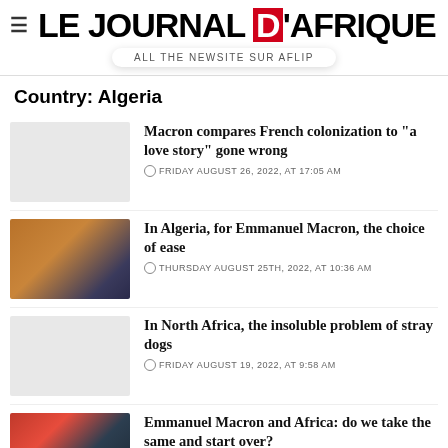LE JOURNAL D'AFRIQUE — ALL THE NEWSITE SUR AFLIP
Country: Algeria
Macron compares French colonization to "a love story" gone wrong — FRIDAY AUGUST 26, 2022, AT 17:05 AM
In Algeria, for Emmanuel Macron, the choice of ease — THURSDAY AUGUST 25TH, 2022, AT 10:36 AM
In North Africa, the insoluble problem of stray dogs — FRIDAY AUGUST 19, 2022, AT 9:58 AM
Emmanuel Macron and Africa: do we take the same and start over? — FRIDAY AUGUST 19, 2022, AT 2:49 AM